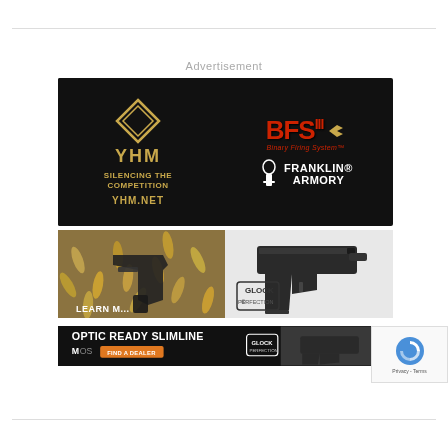Advertisement
[Figure (advertisement): YHM (Yankee Hill Machine) advertisement on black background with diamond logo, gold text 'SILENCING THE COMPETITION', 'YHM.NET', alongside BFS III Binary Firing System logo in red and Franklin Armory logo in white]
[Figure (advertisement): Left: handgun on pile of ammunition cartridges with LEARN MORE text. Right: Glock pistol on white background with Glock Perfection logo]
[Figure (advertisement): Bottom banner: OPTIC READY SLIMLINE, MOS, FIND A DEALER button in orange, Glock Perfection logo, with Glock pistol image]
[Figure (other): reCAPTCHA widget with Privacy - Terms text]